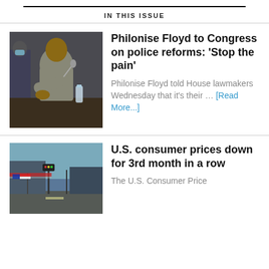IN THIS ISSUE
Philonise Floyd to Congress on police reforms: ‘Stop the pain’
Philonise Floyd told House lawmakers Wednesday that it's their … [Read More...]
U.S. consumer prices down for 3rd month in a row
The U.S. Consumer Price